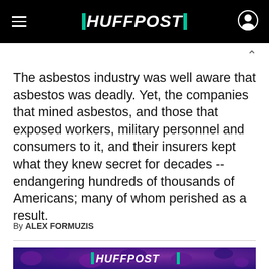HUFFPOST
The asbestos industry was well aware that asbestos was deadly. Yet, the companies that mined asbestos, and those that exposed workers, military personnel and consumers to it, and their insurers kept what they knew secret for decades -- endangering hundreds of thousands of Americans; many of whom perished as a result.
By ALEX FORMUZIS
[Figure (photo): Purple-toned crowd image with HuffPost logo overlay at bottom center]